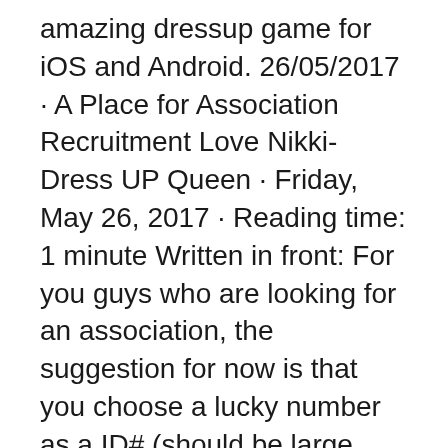amazing dressup game for iOS and Android. 26/05/2017 · A Place for Association Recruitment Love Nikki-Dress UP Queen · Friday, May 26, 2017 · Reading time: 1 minute Written in front: For you guys who are looking for an association, the suggestion for now is that you choose a lucky number as a ID# (should be large enough because the top dozens are full) and try to search the ID#.
06/03/2018 · Love Nikki  Association Style Contests ("Wars") - Detailed Instructions - Duration: 12:42. (Miracle Nikki / Love Nikki S Rank Guide Tutorial) - Duration: 2:02. Nikki Nikki 1,767 views. 2:02 The next event has been